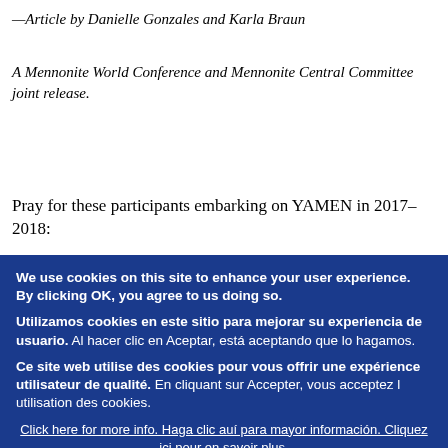—Article by Danielle Gonzales and Karla Braun
A Mennonite World Conference and Mennonite Central Committee joint release.
Pray for these participants embarking on YAMEN in 2017–2018:
We use cookies on this site to enhance your user experience. By clicking OK, you agree to us doing so.
Utilizamos cookies en este sitio para mejorar su experiencia de usuario. Al hacer clic en Aceptar, está aceptando que lo hagamos.
Ce site web utilise des cookies pour vous offrir une expérience utilisateur de qualité. En cliquant sur Accepter, vous acceptez l utilisation des cookies.
Click here for more info. Haga clic auí para mayor información. Cliquez ici pour en savoir plus.
OK, I agree. De acuerdo. Accepter.